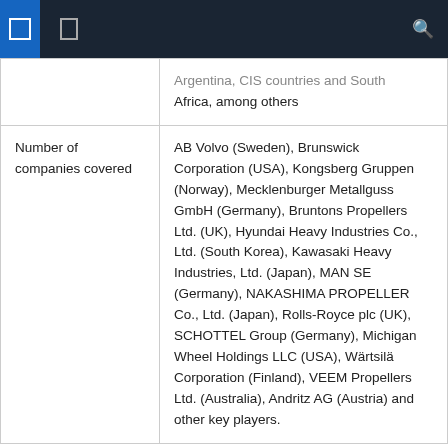|  | Argentina, CIS countries and South Africa, among others |
| Number of companies covered | AB Volvo (Sweden), Brunswick Corporation (USA), Kongsberg Gruppen (Norway), Mecklenburger Metallguss GmbH (Germany), Bruntons Propellers Ltd. (UK), Hyundai Heavy Industries Co., Ltd. (South Korea), Kawasaki Heavy Industries, Ltd. (Japan), MAN SE (Germany), NAKASHIMA PROPELLER Co., Ltd. (Japan), Rolls-Royce plc (UK), SCHOTTEL Group (Germany), Michigan Wheel Holdings LLC (USA), Wärtsilä Corporation (Finland), VEEM Propellers Ltd. (Australia), Andritz AG (Austria) and other key players. |